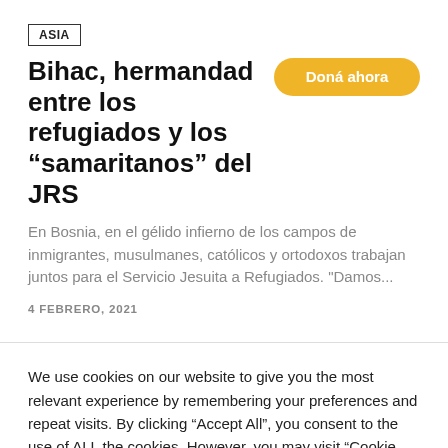ASIA
Bihac, hermandad entre los refugiados y los “samaritanos” del JRS
En Bosnia, en el gélido infierno de los campos de inmigrantes, musulmanes, católicos y ortodoxos trabajan juntos para el Servicio Jesuita a Refugiados. "Damos...
4 FEBRERO, 2021
We use cookies on our website to give you the most relevant experience by remembering your preferences and repeat visits. By clicking “Accept All”, you consent to the use of ALL the cookies. However, you may visit “Cookie Settings” to provide a controlled consent.
Cookie Settings
Accept All